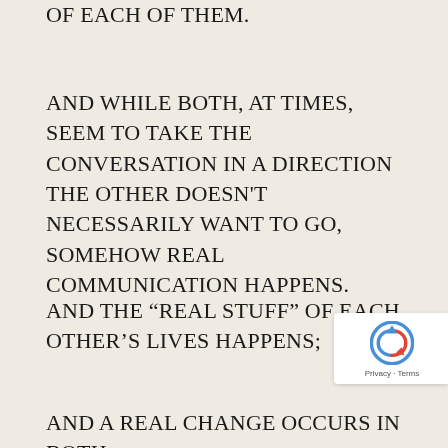OF EACH OF THEM.
AND WHILE BOTH, AT TIMES, SEEM TO TAKE THE CONVERSATION IN A DIRECTION THE OTHER DOESN'T NECESSARILY WANT TO GO, SOMEHOW REAL COMMUNICATION HAPPENS.
AND THE “REAL STUFF” OF EACH OTHER’S LIVES HAPPENS;
AND A REAL CHANGE OCCURS IN BOTH